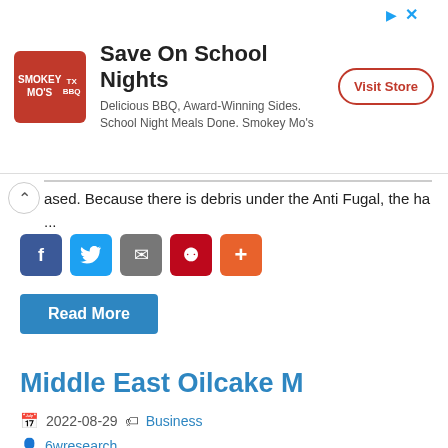[Figure (infographic): Advertisement banner for Smokey Mo's TX BBQ: logo on left, headline 'Save On School Nights', subtext 'Delicious BBQ, Award-Winning Sides. School Night Meals Done. Smokey Mo's', and 'Visit Store' button on right.]
ased. Because there is debris under the Anti Fugal, the ha ...
[Figure (infographic): Row of social share buttons: Facebook (blue), Twitter (blue), Email (grey), Pinterest (red), Plus (orange-red)]
Read More
Middle East Oilcake M
2022-08-29  Business
6wresearch
Middle East Oilcake Market Overview Middle East Oilcake Market is anticipated to gain growth in the coming future. ...